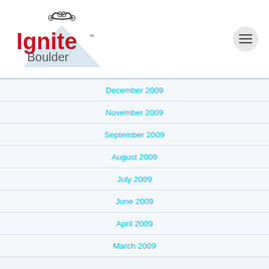[Figure (logo): Ignite Boulder logo with antenna graphic and mountain silhouette]
December 2009
November 2009
September 2009
August 2009
July 2009
June 2009
April 2009
March 2009